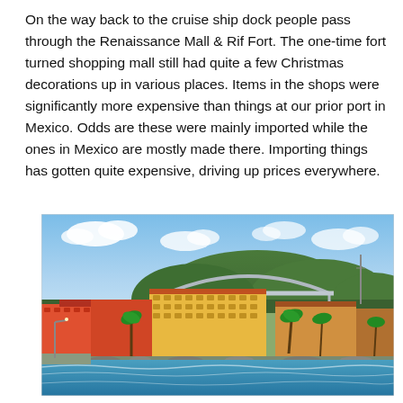On the way back to the cruise ship dock people pass through the Renaissance Mall & Rif Fort. The one-time fort turned shopping mall still had quite a few Christmas decorations up in various places. Items in the shops were significantly more expensive than things at our prior port in Mexico. Odds are these were mainly imported while the ones in Mexico are mostly made there. Importing things has gotten quite expensive, driving up prices everywhere.
[Figure (photo): Aerial/waterfront view of a coastal city with colorful yellow and orange multi-story buildings along the shoreline, a large arched bridge in the background over a hill, palm trees, blue ocean water in the foreground, and a partly cloudy blue sky.]